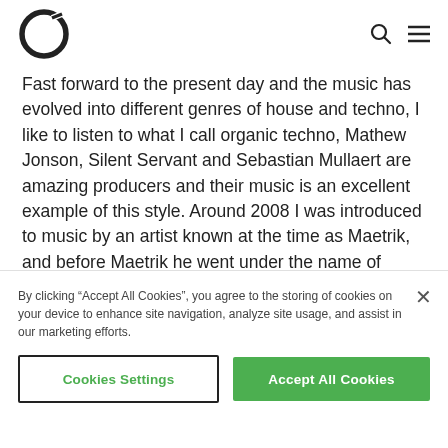[Logo] [Search icon] [Menu icon]
Fast forward to the present day and the music has evolved into different genres of house and techno, I like to listen to what I call organic techno, Mathew Jonson, Silent Servant and Sebastian Mullaert are amazing producers and their music is an excellent example of this style. Around 2008 I was introduced to music by an artist known at the time as Maetrik, and before Maetrik he went under the name of Mariel Ito. Most will know this amazing guy as Maceo Plex. I'm a huge fan and personal friend of Maceo and all of his work. Maceo
By clicking "Accept All Cookies", you agree to the storing of cookies on your device to enhance site navigation, analyze site usage, and assist in our marketing efforts.
Cookies Settings
Accept All Cookies